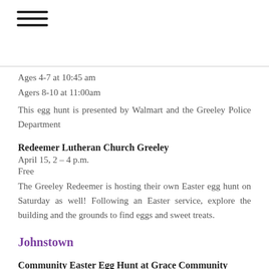Ages 4-7 at 10:45 am
Agers 8-10 at 11:00am
This egg hunt is presented by Walmart and the Greeley Police Department
Redeemer Lutheran Church Greeley
April 15, 2 – 4 p.m.
Free
The Greeley Redeemer is hosting their own Easter egg hunt on Saturday as well! Following an Easter service, explore the building and the grounds to find eggs and sweet treats.
Johnstown
Community Easter Egg Hunt at Grace Community Church
April 14 at 10:00am